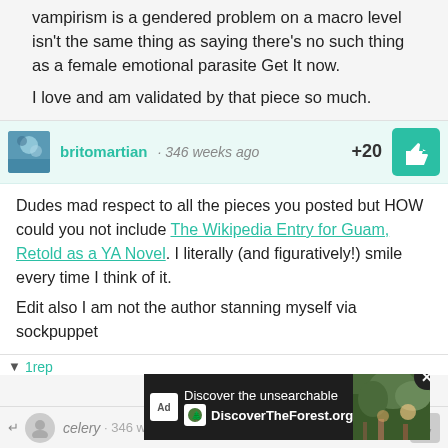vampirism is a gendered problem on a macro level isn't the same thing as saying there's no such thing as a female emotional parasite Get It now.
I love and am validated by that piece so much.
britomartian · 346 weeks ago  +20
Dudes mad respect to all the pieces you posted but HOW could you not include The Wikipedia Entry for Guam, Retold as a YA Novel. I literally (and figuratively!) smile every time I think of it.
Edit also I am not the author stanning myself via sockpuppet
1rep
[Figure (screenshot): Ad banner: Discover the unsearchable DiscoverTheForest.org with forest photo]
celery · 346 weeks ago  +8